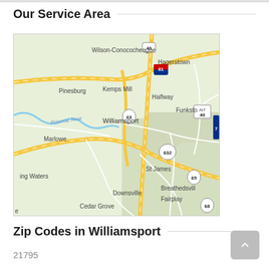Our Service Area
[Figure (map): Google Maps view showing Williamsport, MD area including Wilson-Conococheague, Hagerstown, Pinesburg, Kemps Mill, Halfway, Funkstown, Potomac River, Marlowe, St James, Downsville, Cedar Grove, Breathedsville, Fairplay, and route numbers 40, 81, 63, ALT 40, 632, 65, 68, 7]
Zip Codes in Williamsport
21795